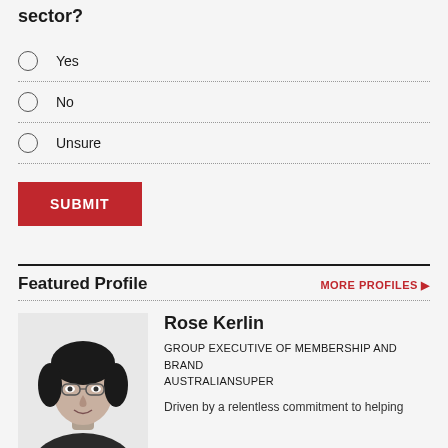sector?
Yes
No
Unsure
Featured Profile
MORE PROFILES ▶
Rose Kerlin
GROUP EXECUTIVE OF MEMBERSHIP AND BRAND
AUSTRALIANSUPER
Driven by a relentless commitment to helping